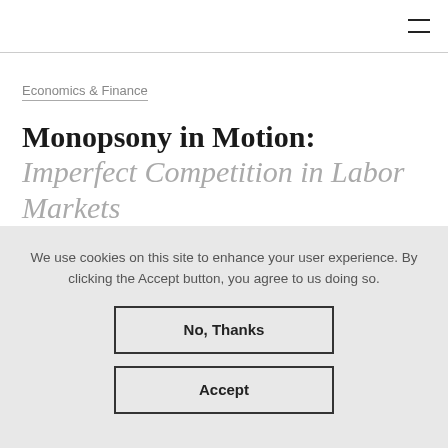≡
Economics & Finance
Monopsony in Motion: Imperfect Competition in Labor Markets
Alan Manning
We use cookies on this site to enhance your user experience. By clicking the Accept button, you agree to us doing so.
No, Thanks
Accept